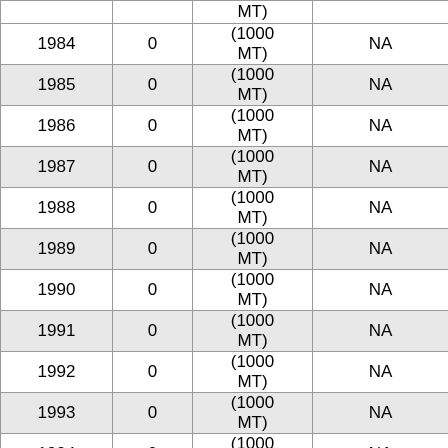|  |  | MT) |  |
| 1984 | 0 | (1000 MT) | NA |
| 1985 | 0 | (1000 MT) | NA |
| 1986 | 0 | (1000 MT) | NA |
| 1987 | 0 | (1000 MT) | NA |
| 1988 | 0 | (1000 MT) | NA |
| 1989 | 0 | (1000 MT) | NA |
| 1990 | 0 | (1000 MT) | NA |
| 1991 | 0 | (1000 MT) | NA |
| 1992 | 0 | (1000 MT) | NA |
| 1993 | 0 | (1000 MT) | NA |
| 1994 | 0 | (1000 MT) | NA |
|  |  | (1000 |  |